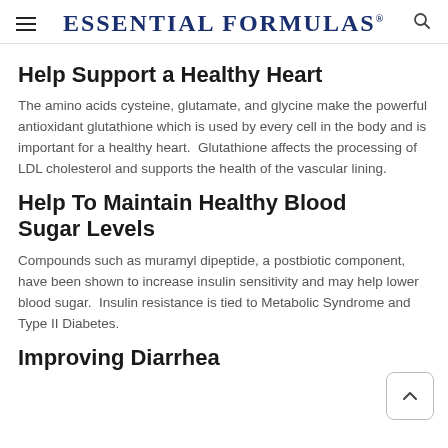Essential Formulas
Help Support a Healthy Heart
The amino acids cysteine, glutamate, and glycine make the powerful antioxidant glutathione which is used by every cell in the body and is important for a healthy heart.  Glutathione affects the processing of LDL cholesterol and supports the health of the vascular lining.
Help To Maintain Healthy Blood Sugar Levels
Compounds such as muramyl dipeptide, a postbiotic component, have been shown to increase insulin sensitivity and may help lower blood sugar.  Insulin resistance is tied to Metabolic Syndrome and Type II Diabetes.
Improving Diarrhea